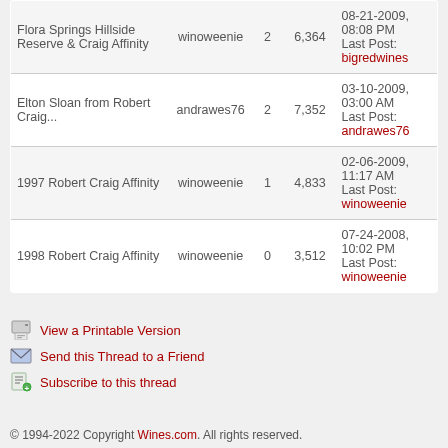| Topic | Author | Replies | Views | Last Post |
| --- | --- | --- | --- | --- |
| Flora Springs Hillside Reserve & Craig Affinity | winoweenie | 2 | 6,364 | 08-21-2009, 08:08 PM
Last Post: bigredwines |
| Elton Sloan from Robert Craig... | andrawes76 | 2 | 7,352 | 03-10-2009, 03:00 AM
Last Post: andrawes76 |
| 1997 Robert Craig Affinity | winoweenie | 1 | 4,833 | 02-06-2009, 11:17 AM
Last Post: winoweenie |
| 1998 Robert Craig Affinity | winoweenie | 0 | 3,512 | 07-24-2008, 10:02 PM
Last Post: winoweenie |
View a Printable Version
Send this Thread to a Friend
Subscribe to this thread
© 1994-2022 Copyright Wines.com. All rights reserved.